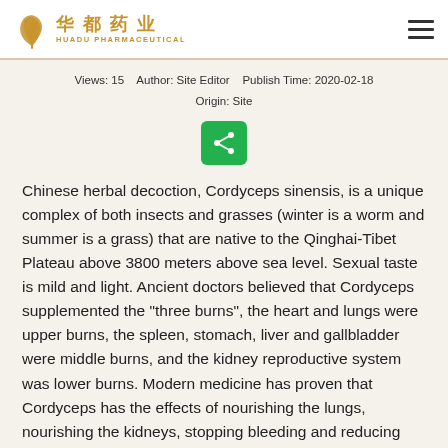[Figure (logo): Huadu Pharmaceutical logo with Chinese characters 华都药业 and English text HUADU PHARMACEUTICAL, with a stylized leaf/plant icon in gold/brown color]
Views: 15    Author: Site Editor    Publish Time: 2020-02-18
Origin: Site
[Figure (other): Green share button with share/network icon]
Chinese herbal decoction, Cordyceps sinensis, is a unique complex of both insects and grasses (winter is a worm and summer is a grass) that are native to the Qinghai-Tibet Plateau above 3800 meters above sea level. Sexual taste is mild and light. Ancient doctors believed that Cordyceps supplemented the "three burns", the heart and lungs were upper burns, the spleen, stomach, liver and gallbladder were middle burns, and the kidney reproductive system was lower burns. Modern medicine has proven that Cordyceps has the effects of nourishing the lungs, nourishing the kidneys, stopping bleeding and reducing phlegm, and nourishing essence and qi, and has wonderful effects on preventing cancer, curing cancer, and